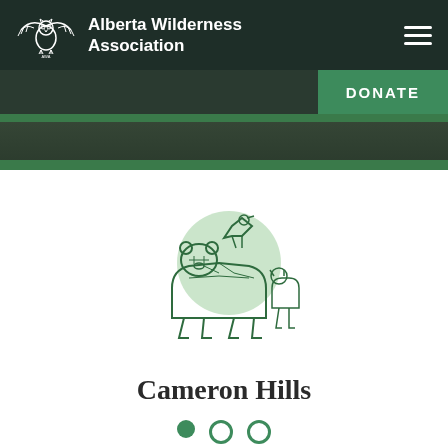Alberta Wilderness Association
[Figure (logo): Alberta Wilderness Association geometric wildlife logo showing bear and bird in green line art with green circle backdrop]
Cameron Hills
[Figure (photo): Partial photo at bottom of page showing green forest/wilderness scene]